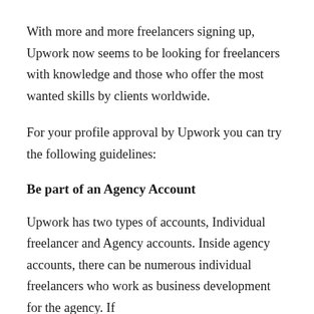With more and more freelancers signing up, Upwork now seems to be looking for freelancers with knowledge and those who offer the most wanted skills by clients worldwide.
For your profile approval by Upwork you can try the following guidelines:
Be part of an Agency Account
Upwork has two types of accounts, Individual freelancer and Agency accounts. Inside agency accounts, there can be numerous individual freelancers who work as business development for the agency. If